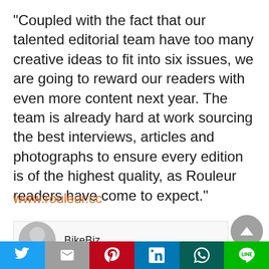"Coupled with the fact that our talented editorial team have too many creative ideas to fit into six issues, we are going to reward our readers with even more content next year. The team is already hard at work sourcing the best interviews, articles and photographs to ensure every edition is of the highest quality, as Rouleur readers have come to expect."
www.rouleur.cc
BikeBiz